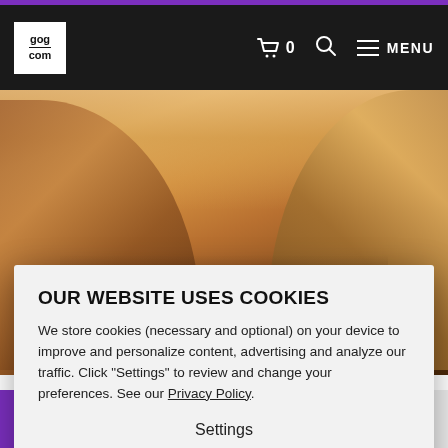GOG.COM navigation bar with cart icon, search icon, and MENU
[Figure (photo): Disco Elysium: The Final Cut game hero banner showing two characters (detective with glasses and a bearded man) against a stylized orange/golden sky background with the game logo prominently displayed]
OUR WEBSITE USES COOKIES
We store cookies (necessary and optional) on your device to improve and personalize content, advertising and analyze our traffic. Click "Settings" to review and change your preferences. See our Privacy Policy.
Settings
Accept all cookies
D... (game title partially visible)
★ (star rating partially visible)
-65%
$ 13.99